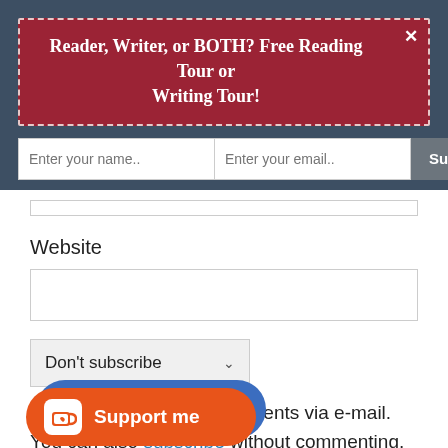Reader, Writer, or BOTH? Free Reading Tour or Writing Tour!
Enter your name..
Enter your email..
Subscribe Now
Website
Don't subscribe
Notify me of followup comments via e-mail. You can also subscribe without commenting.
[Figure (other): Support me button with Ko-fi style icon (coffee cup with heart), orange button with blue shadow behind it]